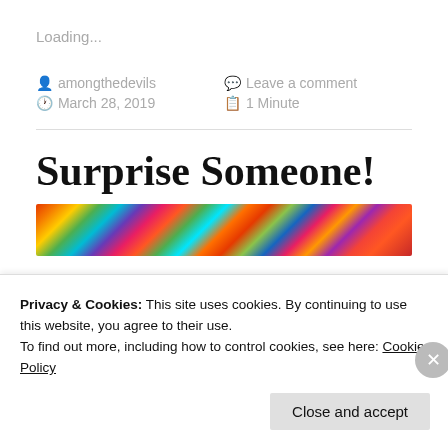Loading...
amongthedevils   Leave a comment
March 28, 2019   1 Minute
Surprise Someone!
[Figure (photo): Colorful psychedelic/fractal image banner]
Privacy & Cookies: This site uses cookies. By continuing to use this website, you agree to their use.
To find out more, including how to control cookies, see here: Cookie Policy
Close and accept